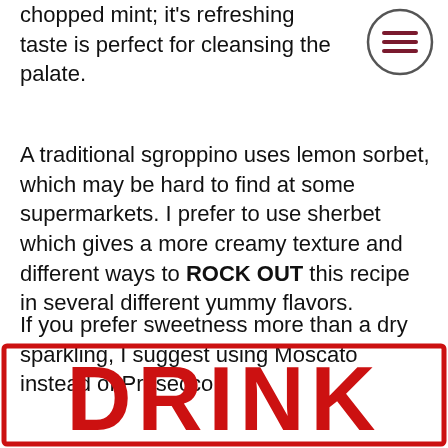chopped mint; it's refreshing taste is perfect for cleansing the palate.
[Figure (other): Hamburger menu icon — circle with three horizontal lines]
A traditional sgroppino uses lemon sorbet, which may be hard to find at some supermarkets. I prefer to use sherbet which gives a more creamy texture and different ways to ROCK OUT this recipe in several different yummy flavors.
If you prefer sweetness more than a dry sparkling, I suggest using Moscato instead of Prosecco.
[Figure (other): Red distressed stamp graphic showing the word DRINK in large bold red letters with a rectangular border]